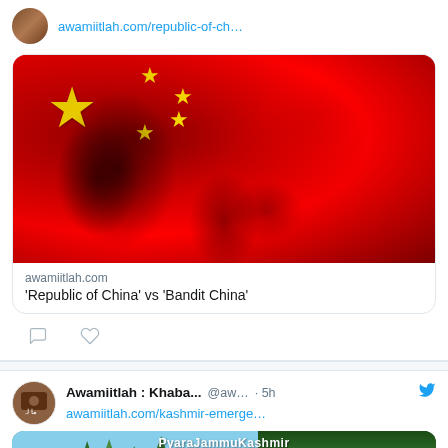awamiitlah.com/republic-of-ch…
[Figure (photo): Image of the Chinese flag with cracked/textured red surface and yellow stars]
awamiitlah.com
'Republic of China' vs 'Bandit China'
Awamiitlah : Khaba... @aw… · 5h
awamiitlah.com/kashmir-emerge…
[Figure (photo): Image of Jammu Kashmir landscape with trees and road, labeled PyaraJammuKashmir]
Translate »